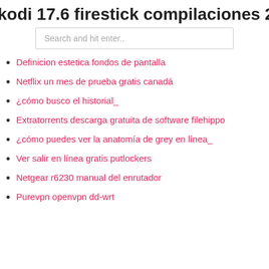kodi 17.6 firestick compilaciones 202…
Definicion estetica fondos de pantalla
Netflix un mes de prueba gratis canadá
¿cómo busco el historial_
Extratorrents descarga gratuita de software filehippo
¿cómo puedes ver la anatomía de grey en línea_
Ver salir en línea gratis putlockers
Netgear r6230 manual del enrutador
Purevpn openvpn dd-wrt